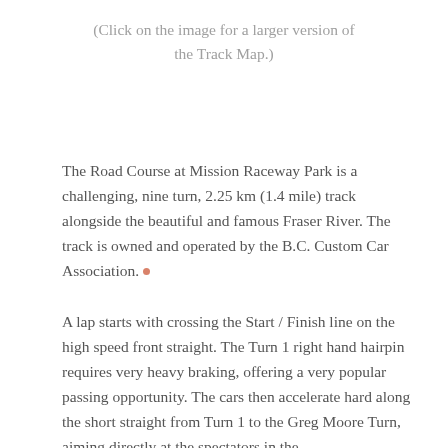(Click on the image for a larger version of the Track Map.)
The Road Course at Mission Raceway Park is a challenging, nine turn, 2.25 km (1.4 mile) track alongside the beautiful and famous Fraser River. The track is owned and operated by the B.C. Custom Car Association.
A lap starts with crossing the Start / Finish line on the high speed front straight. The Turn 1 right hand hairpin requires very heavy braking, offering a very popular passing opportunity. The cars then accelerate hard along the short straight from Turn 1 to the Greg Moore Turn, aiming directly at the spectators in the...